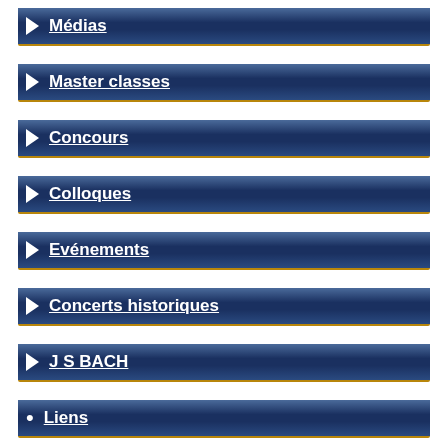Médias
Master classes
Concours
Colloques
Evénements
Concerts historiques
J S BACH
Liens
[Figure (illustration): UK flag icon]
(partial nav bar at bottom)